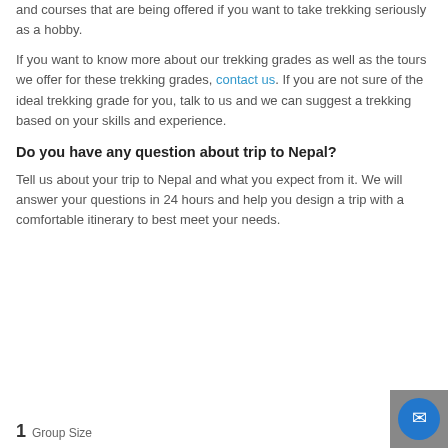and courses that are being offered if you want to take trekking seriously as a hobby.
If you want to know more about our trekking grades as well as the tours we offer for these trekking grades, contact us. If you are not sure of the ideal trekking grade for you, talk to us and we can suggest a trekking based on your skills and experience.
Do you have any question about trip to Nepal?
Tell us about your trip to Nepal and what you expect from it. We will answer your questions in 24 hours and help you design a trip with a comfortable itinerary to best meet your needs.
1  Group Size